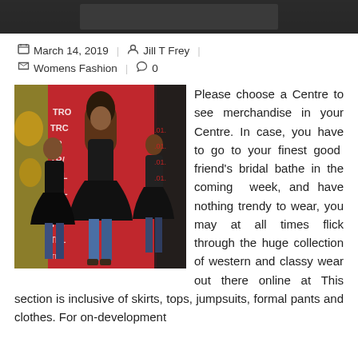[Figure (photo): Dark top portion of page, cropped photo background]
March 14, 2019 | Jill T Frey | Womens Fashion | 0
[Figure (photo): Three women in black outfits posing in front of a backdrop with text]
Please choose a Centre to see merchandise in your Centre. In case, you have to go to your finest good friend's bridal bathe in the coming week, and have nothing trendy to wear, you may at all times flick through the huge collection of western and classy wear out there online at This section is inclusive of skirts, tops, jumpsuits, formal pants and clothes. For on-development